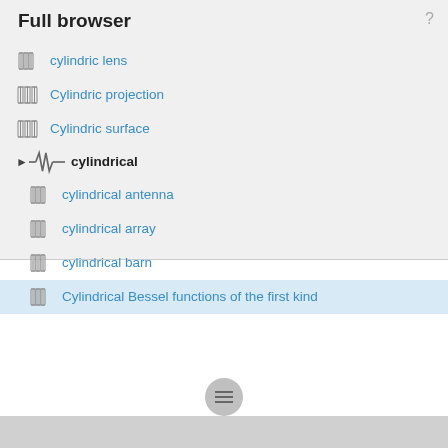Full browser
cylindric lens
Cylindric projection
Cylindric surface
cylindrical
cylindrical antenna
cylindrical array
cylindrical barn
Cylindrical Bessel functions of the first kind